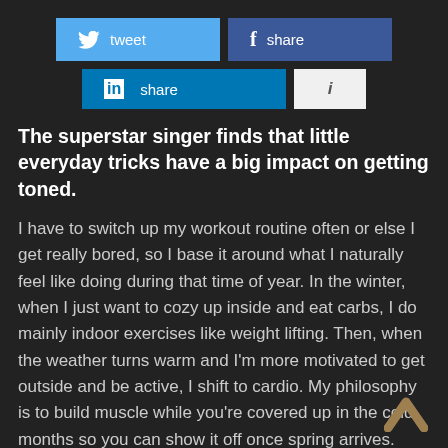[Figure (screenshot): Social sharing buttons: Twitter tweet button (light blue), Facebook share button (dark blue), LinkedIn share button (medium blue), and an info button (light grey with italic i)]
The superstar singer finds that little everyday tricks have a big impact on getting toned.
I have to switch up my workout routine often or else I get really bored, so I base it around what I naturally feel like doing during that time of year. In the winter, when I just want to cozy up inside and eat carbs, I do mainly indoor exercises like weight lifting. Then, when the weather turns warm and I'm more motivated to get outside and be active, I shift to cardio. My philosophy is to build muscle while you're covered up in the cold months so you can show it off once spring arrives.